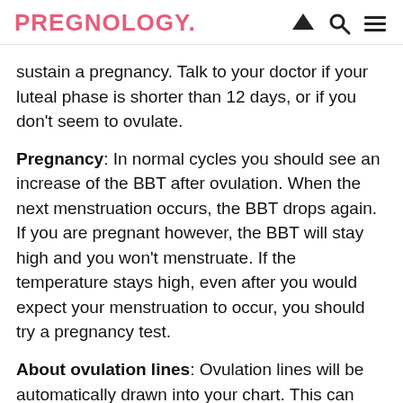PREGNOLOGY.
sustain a pregnancy. Talk to your doctor if your luteal phase is shorter than 12 days, or if you don't seem to ovulate.
Pregnancy: In normal cycles you should see an increase of the BBT after ovulation. When the next menstruation occurs, the BBT drops again. If you are pregnant however, the BBT will stay high and you won't menstruate. If the temperature stays high, even after you would expect your menstruation to occur, you should try a pregnancy test.
About ovulation lines: Ovulation lines will be automatically drawn into your chart. This can only be decided a few days after your ovulation. When your body temperature is continuously elevated and doesn't drop you'll see a blue vertical ovulation line. The average tempratures before and after ovulation are yellow horizontal lines. When the difference betwwen those averages is big enough the point will draw the three lines...